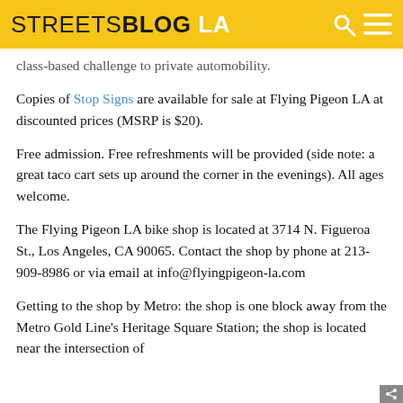STREETSBLOG LA
class-based challenge to private automobility.
Copies of Stop Signs are available for sale at Flying Pigeon LA at discounted prices (MSRP is $20).
Free admission. Free refreshments will be provided (side note: a great taco cart sets up around the corner in the evenings). All ages welcome.
The Flying Pigeon LA bike shop is located at 3714 N. Figueroa St., Los Angeles, CA 90065. Contact the shop by phone at 213-909-8986 or via email at info@flyingpigeon-la.com
Getting to the shop by Metro: the shop is one block away from the Metro Gold Line's Heritage Square Station; the shop is located near the intersection of